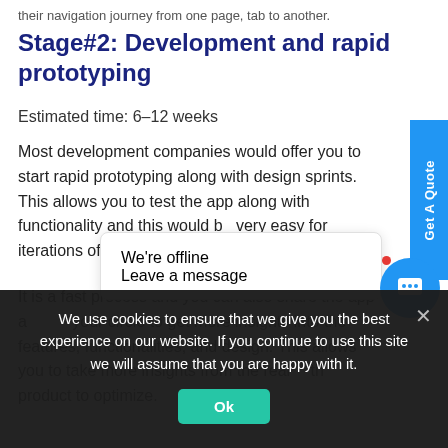their navigation journey from one page, tab to another.
Stage#2: Development and rapid prototyping
Estimated time: 6-12 weeks
Most development companies would offer you to start rapid prototyping along with design sprints. This allows you to test the app along with functionality and this would be very easy for iterations of the app.
It is a fast process and you can also share the app around your circle to get more insights into the features, functionalities, and design. This allows you to take more insights from the real... the product to optimize...
We're offline
Leave a message
We use cookies to ensure that we give you the best experience on our website. If you continue to use this site we will assume that you are happy with it.